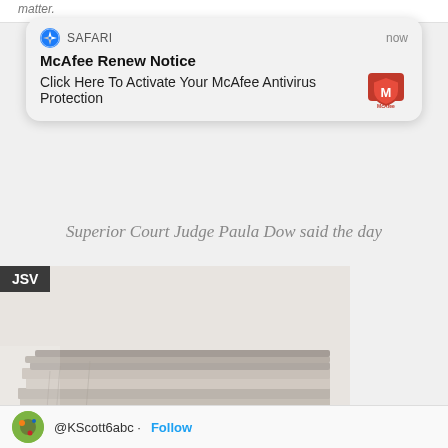matter.
[Figure (screenshot): Safari browser push notification popup: 'McAfee Renew Notice – Click Here To Activate Your McAfee Antivirus Protection' with McAfee logo on the right, showing 'now' timestamp]
Superior Court Judge Paula Dow said the day
JSV
[Figure (photo): Stack of folded newspapers photographed close-up with three dark dots overlaid in the center]
@KScott6abc · Follow